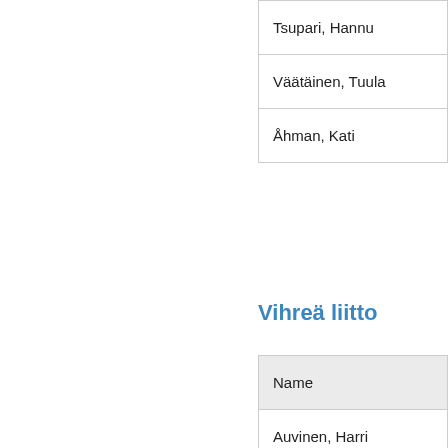| Name |
| --- |
| Tsupari, Hannu |
| Väätäinen, Tuula |
| Åhman, Kati |
Vihreä liitto
| Name |
| --- |
| Auvinen, Harri |
| Berg, Marja |